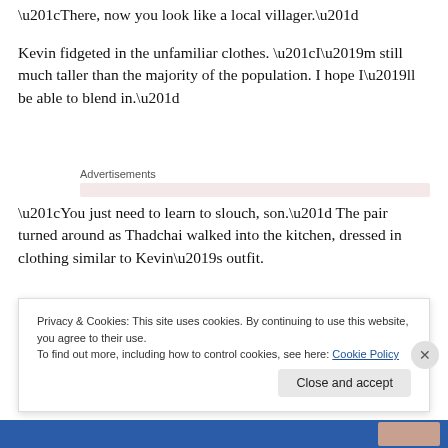“There, now you look like a local villager.”
Kevin fidgeted in the unfamiliar clothes. “I’m still much taller than the majority of the population. I hope I’ll be able to blend in.”
Advertisements
“You just need to learn to slouch, son.” The pair turned around as Thadchai walked into the kitchen, dressed in clothing similar to Kevin’s outfit.
Privacy & Cookies: This site uses cookies. By continuing to use this website, you agree to their use.
To find out more, including how to control cookies, see here: Cookie Policy